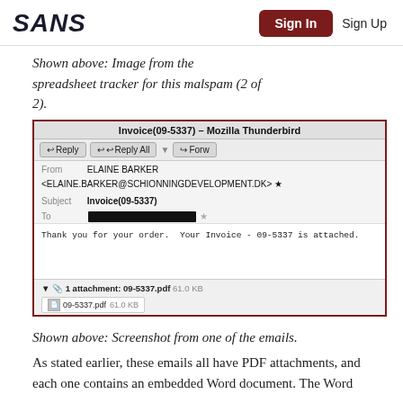SANS | Sign In | Sign Up
Shown above:  Image from the spreadsheet tracker for this malspam (2 of 2).
[Figure (screenshot): Screenshot of Mozilla Thunderbird email client showing an email with subject Invoice(09-5337) from ELAINE BARKER <ELAINE.BARKER@SCHIONNINGDEVELOPMENT.DK> with body text 'Thank you for your order. Your Invoice - 09-5337 is attached.' and attachment 09-5337.pdf 61.0 KB]
Shown above:  Screenshot from one of the emails.
As stated earlier, these emails all have PDF attachments, and each one contains an embedded Word document.  The Word